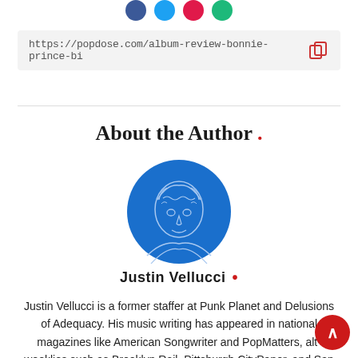[Figure (other): Social share icons: Facebook (blue), Twitter (light blue), Pinterest (red), and a green icon, shown as circles at the top.]
https://popdose.com/album-review-bonnie-prince-bi
About the Author .
[Figure (illustration): Circular blue avatar illustration of a person, line-art style on blue background.]
Justin Vellucci •
Justin Vellucci is a former staffer at Punk Planet and Delusions of Adequacy. His music writing has appeared in national magazines like American Songwriter and PopMatters, alt-weeklies such as Brooklyn Rail, Pittsburgh CityPaper, and San